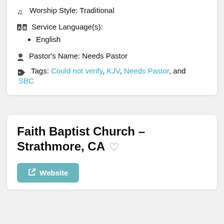KJV Position: KJV
Worship Style: Traditional
Service Language(s): English
Pastor's Name: Needs Pastor
Tags: Could not verify, KJV, Needs Pastor, and SBC
Faith Baptist Church – Strathmore, CA
Website